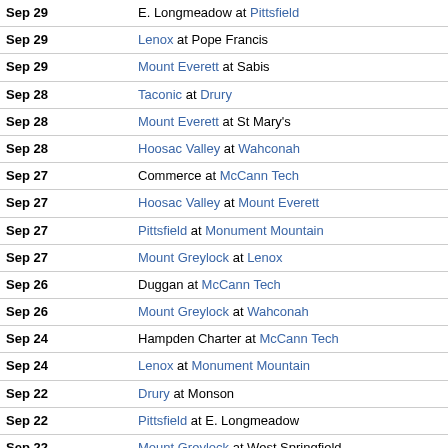| Date | Game |
| --- | --- |
| Sep 29 | E. Longmeadow at Pittsfield |
| Sep 29 | Lenox at Pope Francis |
| Sep 29 | Mount Everett at Sabis |
| Sep 28 | Taconic at Drury |
| Sep 28 | Mount Everett at St Mary's |
| Sep 28 | Hoosac Valley at Wahconah |
| Sep 27 | Commerce at McCann Tech |
| Sep 27 | Hoosac Valley at Mount Everett |
| Sep 27 | Pittsfield at Monument Mountain |
| Sep 27 | Mount Greylock at Lenox |
| Sep 26 | Duggan at McCann Tech |
| Sep 26 | Mount Greylock at Wahconah |
| Sep 24 | Hampden Charter at McCann Tech |
| Sep 24 | Lenox at Monument Mountain |
| Sep 22 | Drury at Monson |
| Sep 22 | Pittsfield at E. Longmeadow |
| Sep 22 | Mount Greylock at West Springfield |
| Sep 21 | Drury at Mount Everett |
| Sep 21 | Monument Mountain at Wahconah |
| Sep 20 | Pittsfield at Lenox |
| Sep 20 | Putnam at McCann Tech |
| Sep 19 | Wahconah at Hoosac Valley |